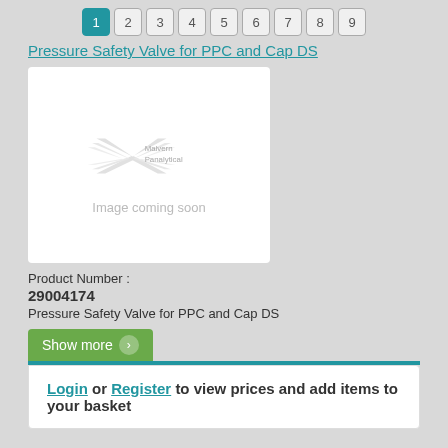1 2 3 4 5 6 7 8 9
Pressure Safety Valve for PPC and Cap DS
[Figure (logo): Malvern Panalytical logo with 'Image coming soon' placeholder text]
Product Number :
29004174
Pressure Safety Valve for PPC and Cap DS
Show more
Login or Register to view prices and add items to your basket